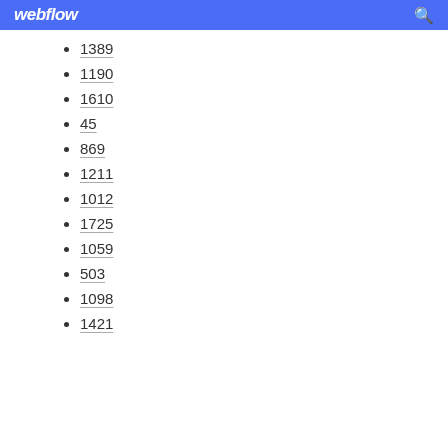webflow
1389
1190
1610
45
869
1211
1012
1725
1059
503
1098
1421